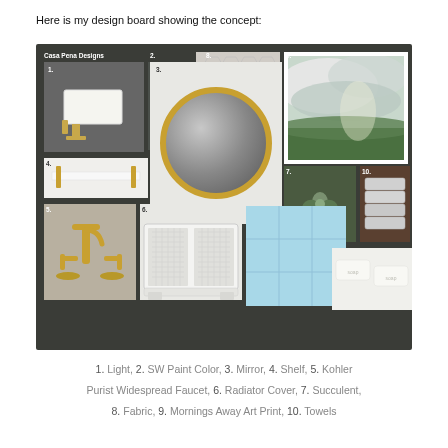Here is my design board showing the concept:
[Figure (illustration): Interior design mood board for bathroom concept. Contains: 1. Wall sconce light, 2. SW Paint Color swatch, 3. Round gold-framed mirror, 4. White shelf with gold brackets, 5. Kohler Purist Widespread Faucet in gold, 6. White radiator cover, 7. Succulent in white pot, 8. Fabric/tile swatch (hexagonal pattern), 9. Mornings Away Art Print (landscape painting), 10. Towels (stacked gray). Also shows blue square tiles and white soap bars. Brand label: Casa Pena Designs.]
1. Light, 2. SW Paint Color, 3. Mirror, 4. Shelf, 5. Kohler Purist Widespread Faucet, 6. Radiator Cover, 7. Succulent, 8. Fabric, 9. Mornings Away Art Print, 10. Towels